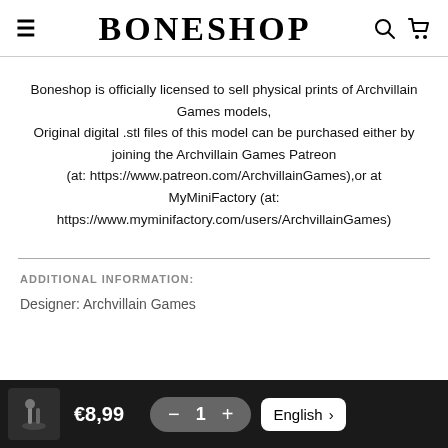BONESHOP
Boneshop is officially licensed to sell physical prints of Archvillain Games models,
Original digital .stl files of this model can be purchased either by joining the Archvillain Games Patreon (at: https://www.patreon.com/ArchvillainGames),or at MyMiniFactory (at: https://www.myminifactory.com/users/ArchvillainGames)
ADDITIONAL INFORMATION:
Designer: Archvillain Games
€8,99  −  1  +  English  >